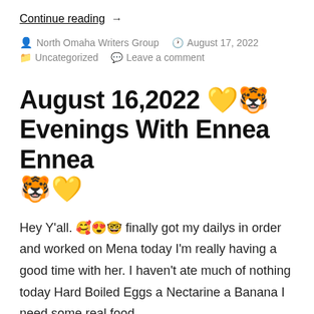Continue reading  →
North Omaha Writers Group  August 17, 2022  Uncategorized  Leave a comment
August 16,2022 🧡🐯 Evenings With Ennea Ennea 🐯🧡
Hey Y'all. 🥰😍🤓 finally got my dailys in order and worked on Mena today I'm really having a good time with her. I haven't ate much of nothing today Hard Boiled Eggs a Nectarine a Banana I need some real food